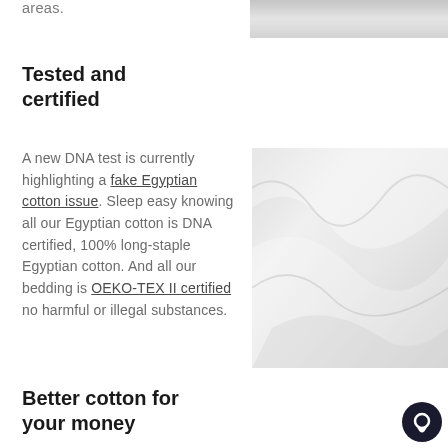areas.
[Figure (photo): Close-up of white fabric/cotton textile at the top right]
Tested and certified
A new DNA test is currently highlighting a fake Egyptian cotton issue. Sleep easy knowing all our Egyptian cotton is DNA certified, 100% long-staple Egyptian cotton. And all our bedding is OEKO-TEX II certified no harmful or illegal substances.
[Figure (photo): Close-up of soft white cotton fabric with gentle folds and texture]
Better cotton for your money